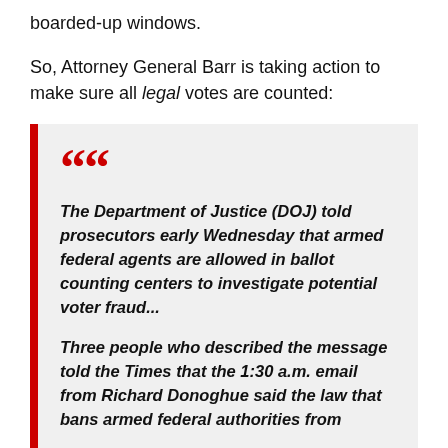boarded-up windows.
So, Attorney General Barr is taking action to make sure all legal votes are counted:
The Department of Justice (DOJ) told prosecutors early Wednesday that armed federal agents are allowed in ballot counting centers to investigate potential voter fraud...

Three people who described the message told the Times that the 1:30 a.m. email from Richard Donoghue said the law that bans armed federal authorities from